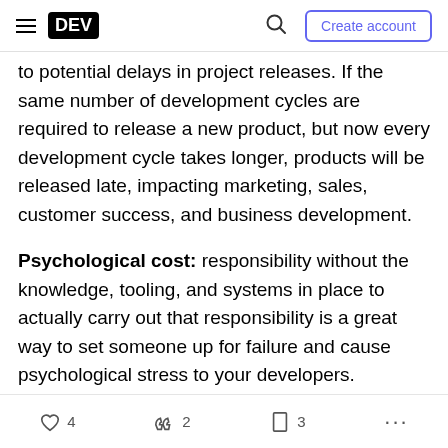DEV | Create account
to potential delays in project releases. If the same number of development cycles are required to release a new product, but now every development cycle takes longer, products will be released late, impacting marketing, sales, customer success, and business development.
Psychological cost: responsibility without the knowledge, tooling, and systems in place to actually carry out that responsibility is a great way to set someone up for failure and cause psychological stress to your developers.
4  2  3  ...